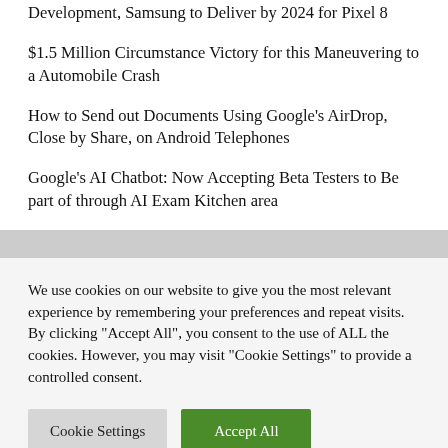Development, Samsung to Deliver by 2024 for Pixel 8
$1.5 Million Circumstance Victory for this Maneuvering to a Automobile Crash
How to Send out Documents Using Google's AirDrop, Close by Share, on Android Telephones
Google's AI Chatbot: Now Accepting Beta Testers to Be part of through AI Exam Kitchen area
We use cookies on our website to give you the most relevant experience by remembering your preferences and repeat visits. By clicking "Accept All", you consent to the use of ALL the cookies. However, you may visit "Cookie Settings" to provide a controlled consent.
Cookie Settings | Accept All